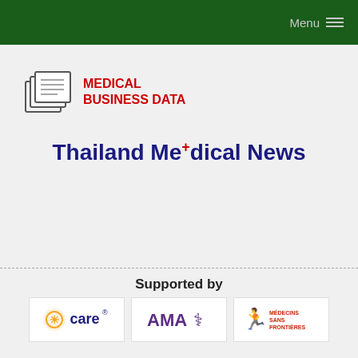Menu
[Figure (logo): Medical Business Data logo with stacked documents icon and red bold text MEDICAL BUSINESS DATA]
Thailand Medical News
Supported by
[Figure (logo): CARE logo - orange sunburst with 'care' text]
[Figure (logo): AMA logo with caduceus symbol]
[Figure (logo): Médecins Sans Frontières logo with running figure]
Accept & Close
By continuing to use our site you consent to the use of cookies as described in our privacy policy